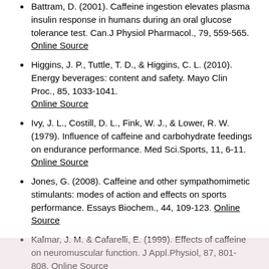Battram, D. (2001). Caffeine ingestion elevates plasma insulin response in humans during an oral glucose tolerance test. Can.J Physiol Pharmacol., 79, 559-565. Online Source
Higgins, J. P., Tuttle, T. D., & Higgins, C. L. (2010). Energy beverages: content and safety. Mayo Clin Proc., 85, 1033-1041. Online Source
Ivy, J. L., Costill, D. L., Fink, W. J., & Lower, R. W. (1979). Influence of caffeine and carbohydrate feedings on endurance performance. Med Sci.Sports, 11, 6-11. Online Source
Jones, G. (2008). Caffeine and other sympathomimetic stimulants: modes of action and effects on sports performance. Essays Biochem., 44, 109-123. Online Source
Kalmar, J. M. & Cafarelli, E. (1999). Effects of caffeine on neuromuscular function. J Appl.Physiol, 87, 801-808. Online Source
Laurent, D., Schneider, K. E., Prusaczyk, W. K., Franklin, C., Vogel, S. M., Krssak, M. et al. (2000). Effects of caffeine on muscle glycogen utilization and the neuroendocrine axis during exercise. J Clin Endocrinol.Metab, 85, 2170-2175. Online Source
Lieberman, H. R., Tharion, W. J., Shukitt-Hale, B., Speckman, K. L., & Tulley, R. (2002). Effects of caffeine, sleep loss, and stress on